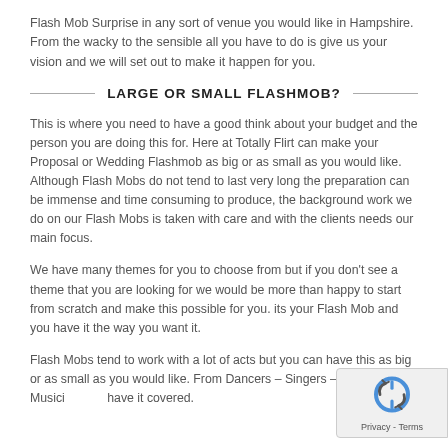Flash Mob Surprise in any sort of venue you would like in Hampshire. From the wacky to the sensible all you have to do is give us your vision and we will set out to make it happen for you.
LARGE OR SMALL FLASHMOB?
This is where you need to have a good think about your budget and the person you are doing this for. Here at Totally Flirt can make your Proposal or Wedding Flashmob as big or as small as you would like. Although Flash Mobs do not tend to last very long the preparation can be immense and time consuming to produce, the background work we do on our Flash Mobs is taken with care and with the clients needs our main focus.
We have many themes for you to choose from but if you don't see a theme that you are looking for we would be more than happy to start from scratch and make this possible for you. its your Flash Mob and you have it the way you want it.
Flash Mobs tend to work with a lot of acts but you can have this as big or as small as you would like. From Dancers – Singers – Actors and Musicians we have it covered.